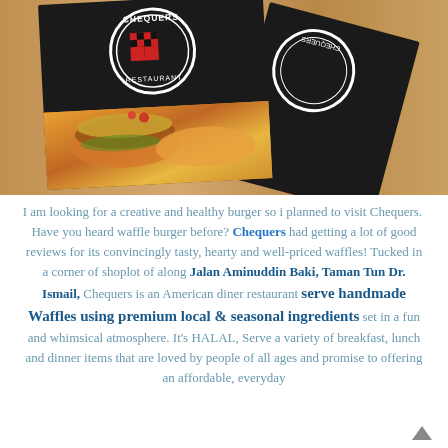[Figure (photo): Photo of Chequers Restaurant menu covers on a wooden table. Dark/black menu covers with the Chequers Restaurant logo (checkered red and black pattern in a circle) visible, along with a food image showing a burger/waffle sandwich with colorful garnishes.]
I am looking for a creative and healthy burger so i planned to visit Chequers. Have you heard waffle burger before? Chequers had getting a lot of good reviews for its convincingly tasty, hearty and well-priced waffles! Tucked in a corner of shoplot of along Jalan Aminuddin Baki, Taman Tun Dr. Ismail, Chequers is an American diner restaurant serve handmade Waffles using premium local & seasonal ingredients set in a fun and whimsical atmosphere. It's HALAL, Serve a variety of breakfast, lunch and dinner items that are loved by people of all ages and promise to offering an affordable, everyday